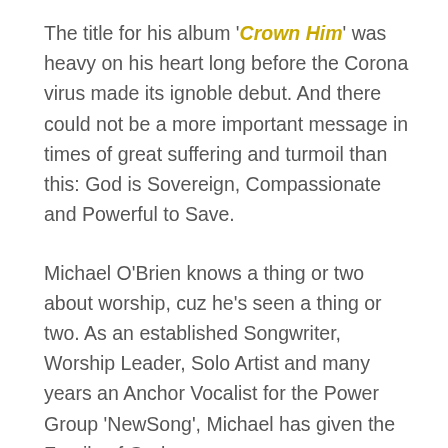The title for his album 'Crown Him' was heavy on his heart long before the Corona virus made its ignoble debut. And there could not be a more important message in times of great suffering and turmoil than this: God is Sovereign, Compassionate and Powerful to Save.
Michael O'Brien knows a thing or two about worship, cuz he's seen a thing or two. As an established Songwriter, Worship Leader, Solo Artist and many years an Anchor Vocalist for the Power Group 'NewSong', Michael has given the Family of God some